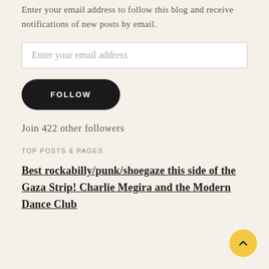Enter your email address to follow this blog and receive notifications of new posts by email.
Enter your email address
FOLLOW
Join 422 other followers
TOP POSTS & PAGES
Best rockabilly/punk/shoegaze this side of the Gaza Strip! Charlie Megira and the Modern Dance Club